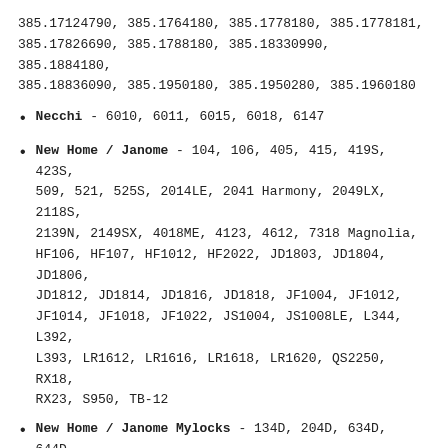385.17124790, 385.1764180, 385.1778180, 385.1778181, 385.17826690, 385.1788180, 385.18330990, 385.1884180, 385.18836090, 385.1950180, 385.1950280, 385.1960180
Necchi - 6010, 6011, 6015, 6018, 6147
New Home / Janome - 104, 106, 405, 415, 419S, 423S, 509, 521, 525S, 2014LE, 2041 Harmony, 2049LX, 2118S, 2139N, 2149SX, 4018ME, 4123, 4612, 7318 Magnolia, HF106, HF107, HF1012, HF2022, JD1803, JD1804, JD1806, JD1812, JD1814, JD1816, JD1818, JF1004, JF1012, JF1014, JF1018, JF1022, JS1004, JS1008LE, L344, L392, L393, LR1612, LR1616, LR1618, LR1620, QS2250, RX18, RX23, S950, TB-12
New Home / Janome Mylocks - 134D, 204D, 634D, 644D, 7933
Pfaff - 1020-1040